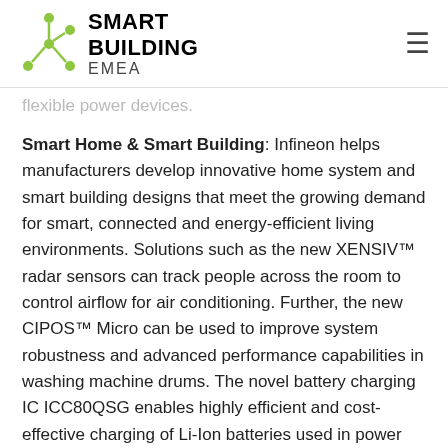Smart Building EMEA
flexible power devices.
Smart Home & Smart Building: Infineon helps manufacturers develop innovative home system and smart building designs that meet the growing demand for smart, connected and energy-efficient living environments. Solutions such as the new XENSIV™ radar sensors can track people across the room to control airflow for air conditioning. Further, the new CIPOS™ Micro can be used to improve system robustness and advanced performance capabilities in washing machine drums. The novel battery charging IC ICC80QSG enables highly efficient and cost-effective charging of Li-Ion batteries used in power and gardening tools, small home appliances and e-bikes.
eTransportation & eMobility: Infineon is accelerating the transition to an electrified, decarbonized mobility landscape. Leading solutions — from highly flexible and